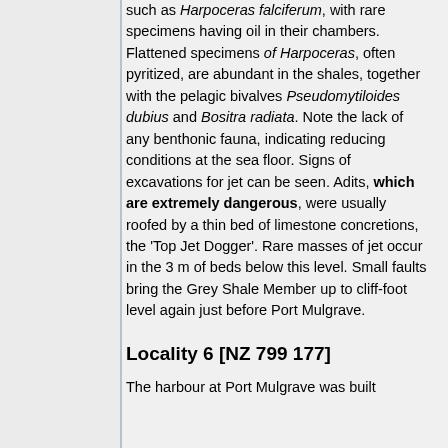such as Harpoceras falciferum, with rare specimens having oil in their chambers. Flattened specimens of Harpoceras, often pyritized, are abundant in the shales, together with the pelagic bivalves Pseudomytiloides dubius and Bositra radiata. Note the lack of any benthonic fauna, indicating reducing conditions at the sea floor. Signs of excavations for jet can be seen. Adits, which are extremely dangerous, were usually roofed by a thin bed of limestone concretions, the 'Top Jet Dogger'. Rare masses of jet occur in the 3 m of beds below this level. Small faults bring the Grey Shale Member up to cliff-foot level again just before Port Mulgrave.
Locality 6 [NZ 799 177]
The harbour at Port Mulgrave was built